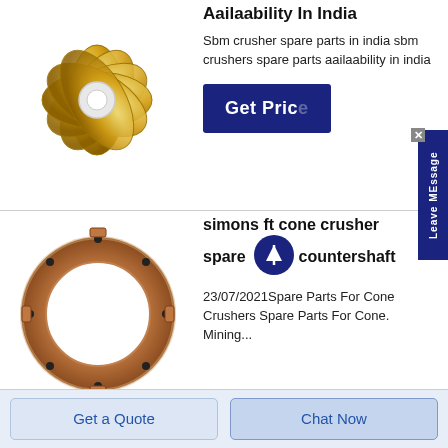[Figure (photo): Gold metallic flower-shaped decorative crusher part component, viewed from above, circular pattern with petal-like segments around a central hole.]
Aailaability In India
Sbm crusher spare parts in india sbm crushers spare parts aailaability in india
Get Price
[Figure (photo): Copper/bronze colored ring-shaped crusher countershaft spare part, circular with bolt holes around the perimeter, viewed from above.]
simons ft cone crusher spare parts countershaft
23/07/2021Spare Parts For Cone Crushers Spare Parts For Cone. Mining...
Get a Quote
Chat Now